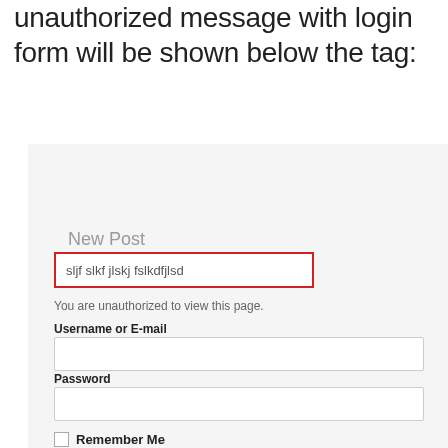unauthorized message with login form will be shown below the tag:
[Figure (screenshot): Screenshot of a WordPress-style login form with 'New Post' heading, a red-bordered tag input box showing 'sljf slkf jlskj fslkdfjlsd', an unauthorized message, Username or E-mail field, Password field, Remember Me checkbox, Log In button, Forgot Password link, and a members-only footer tag.]